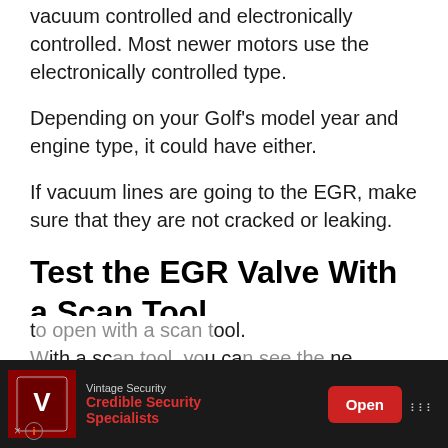vacuum controlled and electronically controlled. Most newer motors use the electronically controlled type.
Depending on your Golf's model year and engine type, it could have either.
If vacuum lines are going to the EGR, make sure that they are not cracked or leaking.
Test the EGR Valve With a Scan Tool
You can command your Golf's EGR valve to open and close with a scan tool.